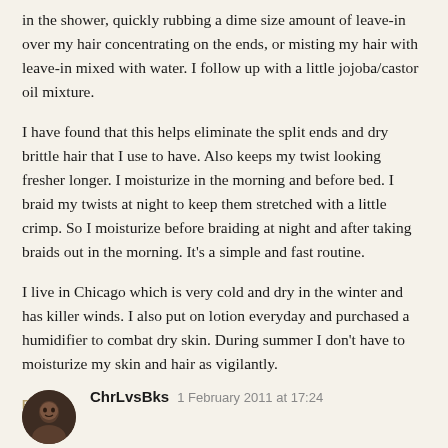in the shower, quickly rubbing a dime size amount of leave-in over my hair concentrating on the ends, or misting my hair with leave-in mixed with water. I follow up with a little jojoba/castor oil mixture.
I have found that this helps eliminate the split ends and dry brittle hair that I use to have. Also keeps my twist looking fresher longer. I moisturize in the morning and before bed. I braid my twists at night to keep them stretched with a little crimp. So I moisturize before braiding at night and after taking braids out in the morning. It's a simple and fast routine.
I live in Chicago which is very cold and dry in the winter and has killer winds. I also put on lotion everyday and purchased a humidifier to combat dry skin. During summer I don't have to moisturize my skin and hair as vigilantly.
REPLY
ChrLvsBks 1 February 2011 at 17:24